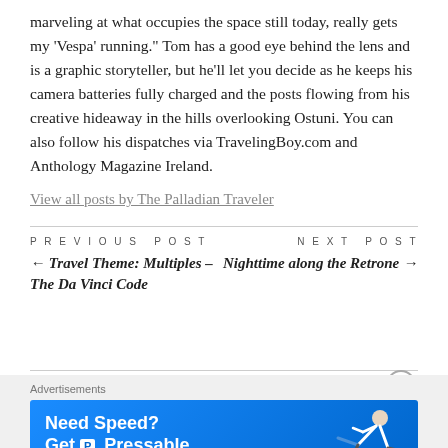marveling at what occupies the space still today, really gets my 'Vespa' running." Tom has a good eye behind the lens and is a graphic storyteller, but he'll let you decide as he keeps his camera batteries fully charged and the posts flowing from his creative hideaway in the hills overlooking Ostuni. You can also follow his dispatches via TravelingBoy.com and Anthology Magazine Ireland.
View all posts by The Palladian Traveler
PREVIOUS POST
NEXT POST
← Travel Theme: Multiples – The Da Vinci Code
Nighttime along the Retrone →
[Figure (infographic): Blue advertisement banner reading 'Need Speed? Get Pressable' with a person running/flying graphic on the right side]